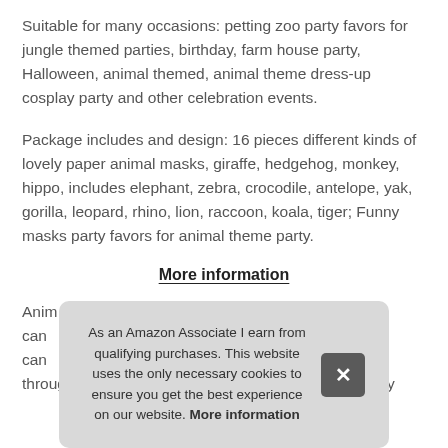Suitable for many occasions: petting zoo party favors for jungle themed parties, birthday, farm house party, Halloween, animal themed, animal theme dress-up cosplay party and other celebration events.
Package includes and design: 16 pieces different kinds of lovely paper animal masks, giraffe, hedgehog, monkey, hippo, includes elephant, zebra, crocodile, antelope, yak, gorilla, leopard, rhino, lion, raccoon, koala, tiger; Funny masks party favors for animal theme party.
More information
Anim can can through a playful animals party. Proper size and no diy
As an Amazon Associate I earn from qualifying purchases. This website uses the only necessary cookies to ensure you get the best experience on our website. More information